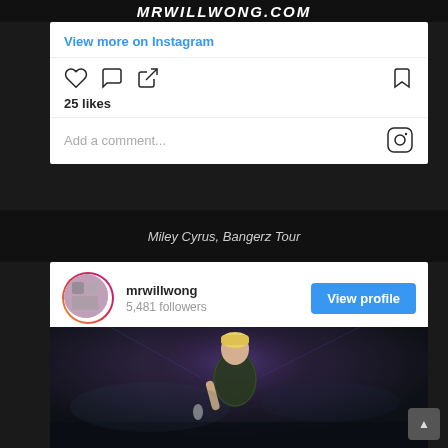MRWILLWONG.COM
View more on Instagram
25 likes
Add a comment...
Miley Cyrus, Bangerz Tour
mrwillwong
5,481 followers
[Figure (photo): Miley Cyrus performing on stage during Bangerz Tour, wearing a green sequined outfit, short blonde hair, dark stage background with blue/purple lighting]